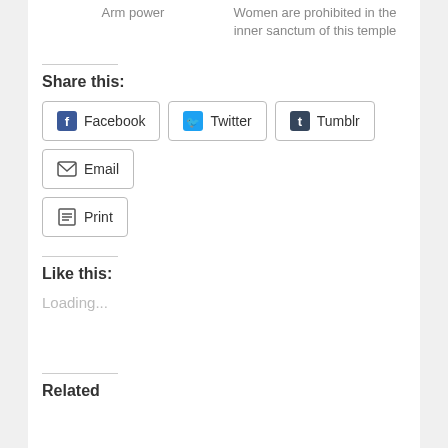Arm power
Women are prohibited in the inner sanctum of this temple
Share this:
Facebook
Twitter
Tumblr
Email
Print
Like this:
Loading...
Related